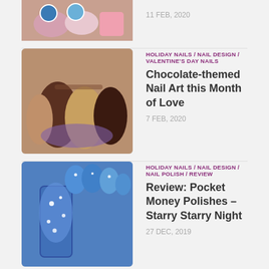[Figure (photo): Partial thumbnail of nail art at top of page]
11 FEB, 2020
[Figure (photo): Chocolate-themed nail art with brown and beige nails]
HOLIDAY NAILS / NAIL DESIGN / VALENTINE'S DAY NAILS
Chocolate-themed Nail Art this Month of Love
7 FEB, 2020
[Figure (photo): Blue glittery nail polish bottle with starry nail art]
HOLIDAY NAILS / NAIL DESIGN / NAIL POLISH / REVIEW
Review: Pocket Money Polishes – Starry Starry Night
27 DEC, 2019
MORE
OUR MUST HAVES